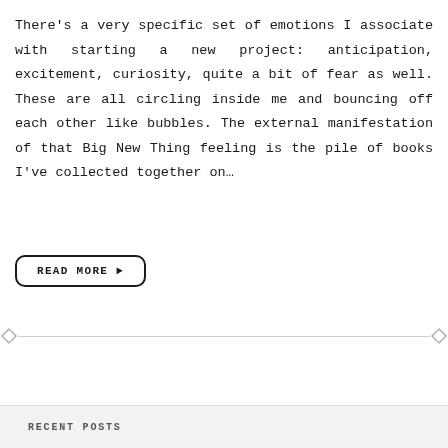There's a very specific set of emotions I associate with starting a new project: anticipation, excitement, curiosity, quite a bit of fear as well. These are all circling inside me and bouncing off each other like bubbles. The external manifestation of that Big New Thing feeling is the pile of books I've collected together on…
READ MORE ▶
RECENT POSTS